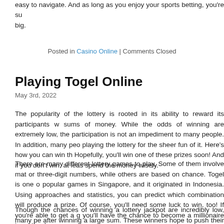easy to navigate. And as long as you enjoy your sports betting, you're su big.
Posted in Casino Online | Comments Closed
Playing Togel Online
May 3rd, 2022
The popularity of the lottery is rooted in its ability to reward its participants w sums of money. While the odds of winning are extremely low, the participation is not an impediment to many people. In addition, many peo playing the lottery for the sheer fun of it. Here's how you can win th Hopefully, you'll win one of these prizes soon! And if you don't win, at leas spend the money wisely.
There are many different lottery games to play. Some of them involve mat or three-digit numbers, while others are based on chance. Togel is one o popular games in Singapore, and it originated in Indonesia. Using approaches and statistics, you can predict which combination will produce a prize. Of course, you'll need some luck to win, too! If you're able to get a g you'll have the chance to become a millionaire in no time!
Though the chances of winning a lottery jackpot are incredibly low, many pe after winning a large sum. These winners hope to push their luck ano around. Since the odds of success are not entirely predictable, you ne patient and play to win. If you have a strong enough streak, you might even